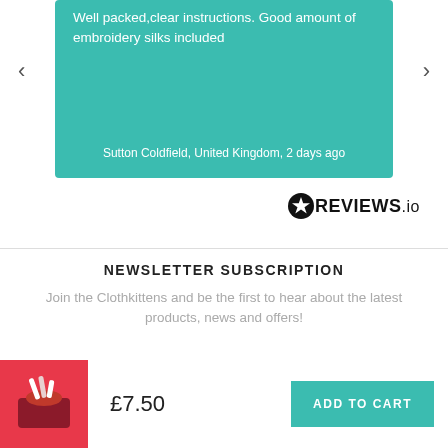Well packed,clear instructions. Good amount of embroidery silks included
Sutton Coldfield, United Kingdom, 2 days ago
[Figure (logo): REVIEWS.io logo with star badge icon]
NEWSLETTER SUBSCRIPTION
Join the Clothkittens and be the first to hear about the latest products, news and offers!
[Figure (photo): Product thumbnail on red/pink background showing embroidery kit]
£7.50
ADD TO CART